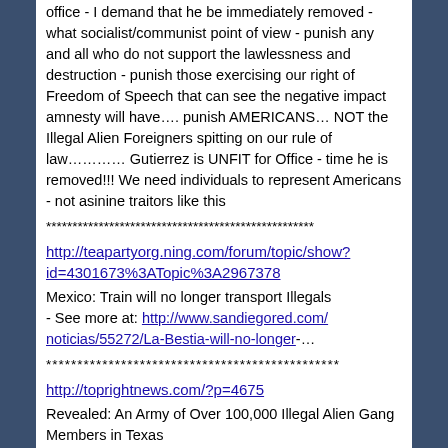office - I demand that he be immediately removed - what socialist/communist point of view - punish any and all who do not support the lawlessness and destruction - punish those exercising our right of Freedom of Speech that can see the negative impact amnesty will have.... punish AMERICANS… NOT the Illegal Alien Foreigners spitting on our rule of law………… Gutierrez is UNFIT for Office - time he is removed!!! We need individuals to represent Americans - not asinine traitors like this
***************************************************
http://teapartyorg.ning.com/forum/topic/show?id=4301673%3ATopic%3A2967378
Mexico: Train will no longer transport Illegals - See more at: http://www.sandiegored.com/noticias/55272/La-Bestia-will-no-longer-…
***********************************************
http://toprightnews.com/?p=4675
Revealed: An Army of Over 100,000 Illegal Alien Gang Members in Texas
By Top Right News on July 24, 2014 in Border Security, Crime, Obama, Politics, Texas
- Sh...